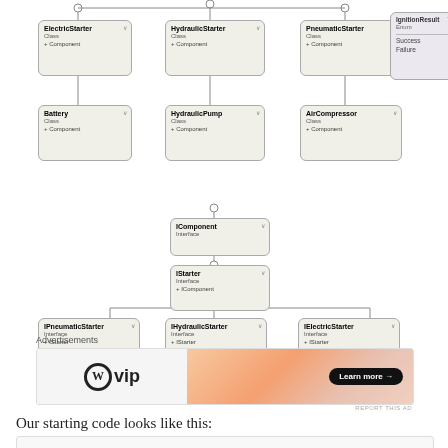[Figure (engineering-diagram): UML class/interface diagram showing ElectricStarter, HydraulicStarter, PneumaticStarter classes (each with Class and +Component), Battery, HydraulicPump, AirCompressor classes, IComponent interface, IStarter interface extending IComponent, IPneumaticStarter, IHydraulicStarter, IElectricStarter interfaces extending IStarter. Also shows IgnitionResult enum with Success and Failure values.]
Advertisements
[Figure (other): WordPress VIP advertisement banner with 'Learn more' button on gradient background]
REPORT THIS AD
Our starting code looks like this: